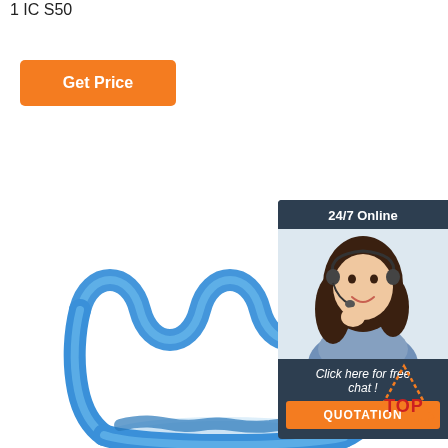1 IC S50
Get Price
[Figure (photo): Blue wavy spring/coil shaped plastic product (dental or medical device) on white background with transparent base]
[Figure (infographic): 24/7 Online chat widget with photo of female customer service representative wearing headset, 'Click here for free chat!' text, and orange QUOTATION button]
[Figure (logo): TOP badge with orange dotted triangle and red text]